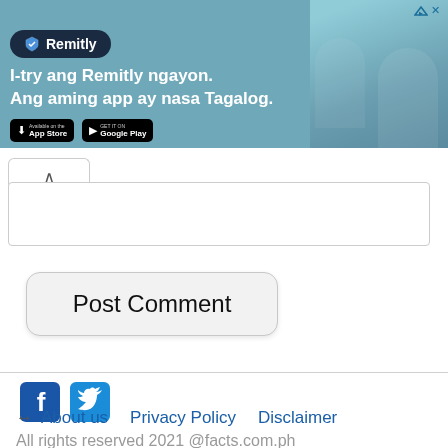[Figure (infographic): Remitly advertisement banner with teal background. Shows Remitly logo on dark pill shape, tagline 'I-try ang Remitly ngayon. Ang aming app ay nasa Tagalog.' with App Store and Google Play badges. Photo of smiling people on right side. Close/ad indicator top right.]
^
Post Comment
[Figure (logo): Facebook icon (blue square with white f)]
[Figure (logo): Twitter icon (blue square with white bird)]
← About us   Privacy Policy   Disclaimer
All rights reserved 2021 @facts.com.ph